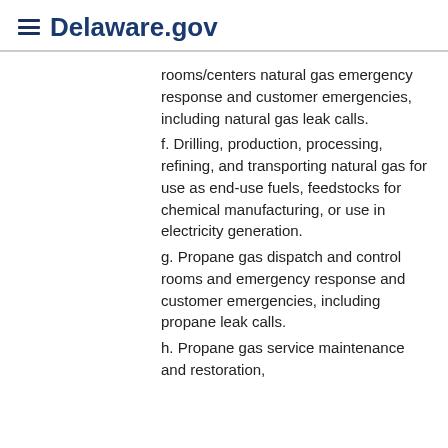Delaware.gov
rooms/centers natural gas emergency response and customer emergencies, including natural gas leak calls.
f. Drilling, production, processing, refining, and transporting natural gas for use as end-use fuels, feedstocks for chemical manufacturing, or use in electricity generation.
g. Propane gas dispatch and control rooms and emergency response and customer emergencies, including propane leak calls.
h. Propane gas service maintenance and restoration,